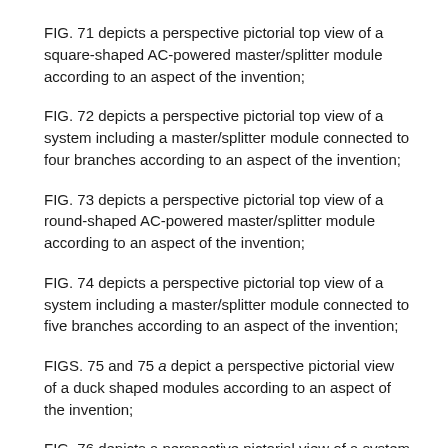FIG. 71 depicts a perspective pictorial top view of a square-shaped AC-powered master/splitter module according to an aspect of the invention;
FIG. 72 depicts a perspective pictorial top view of a system including a master/splitter module connected to four branches according to an aspect of the invention;
FIG. 73 depicts a perspective pictorial top view of a round-shaped AC-powered master/splitter module according to an aspect of the invention;
FIG. 74 depicts a perspective pictorial top view of a system including a master/splitter module connected to five branches according to an aspect of the invention;
FIGS. 75 and 75 a depict a perspective pictorial view of a duck shaped modules according to an aspect of the invention;
FIG. 76 depicts a perspective pictorial view of a system including duck shaped modules according to an aspect of the invention;